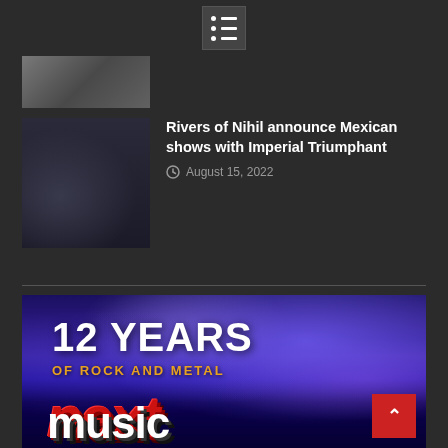Menu navigation icon
[Figure (photo): Partially visible thumbnail image at top left, partially cut off]
[Figure (photo): Thumbnail image of a destroyed or cluttered room interior, dark tones]
Rivers of Nihil announce Mexican shows with Imperial Triumphant
August 15, 2022
[Figure (illustration): Banner image reading '12 YEARS OF ROCK AND METAL' with 'next' and 'music' text overlaid on a concert stage with purple/blue lighting and sparkle effects]